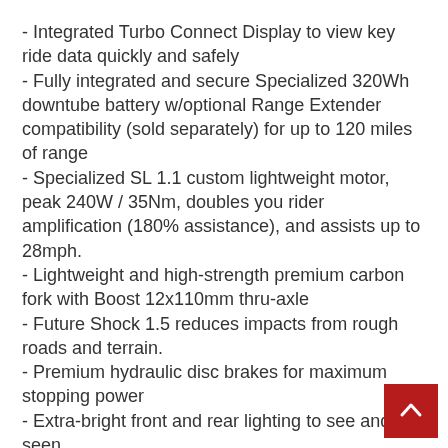- Integrated Turbo Connect Display to view key ride data quickly and safely
- Fully integrated and secure Specialized 320Wh downtube battery w/optional Range Extender compatibility (sold separately) for up to 120 miles of range
- Specialized SL 1.1 custom lightweight motor, peak 240W / 35Nm, doubles you rider amplification (180% assistance), and assists up to 28mph.
- Lightweight and high-strength premium carbon fork with Boost 12x110mm thru-axle
- Future Shock 1.5 reduces impacts from rough roads and terrain.
- Premium hydraulic disc brakes for maximum stopping power
- Extra-bright front and rear lighting to see and be seen
- Turbo SL mounted rear rack, Racktime-compatible for your favorite bags and panniers, and DRYTECH fenders keep the spray away
- 12-speed Shimano SLX shifter and XT derailleur for